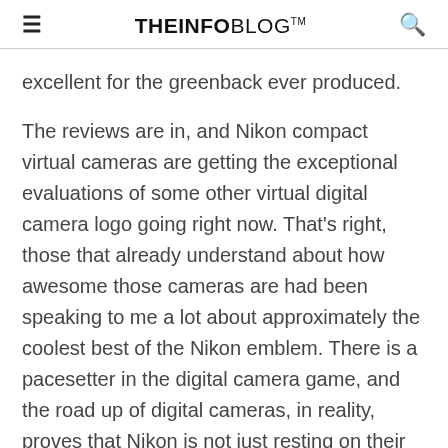≡   THEINFOBLOG™   🔍
excellent for the greenback ever produced.
The reviews are in, and Nikon compact virtual cameras are getting the exceptional evaluations of some other virtual digital camera logo going right now. That's right, those that already understand about how awesome those cameras are had been speaking to me a lot about approximately the coolest best of the Nikon emblem. There is a pacesetter in the digital camera game, and the road up of digital cameras, in reality, proves that Nikon is not just resting on their expert grade laurels. If you're seeking out an awesome compact digital camera,